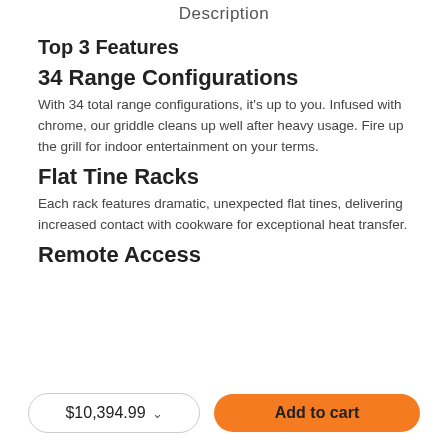Description
Top 3 Features
34 Range Configurations
With 34 total range configurations, it's up to you. Infused with chrome, our griddle cleans up well after heavy usage. Fire up the grill for indoor entertainment on your terms.
Flat Tine Racks
Each rack features dramatic, unexpected flat tines, delivering increased contact with cookware for exceptional heat transfer.
Remote Access
$10,394.99  Add to cart